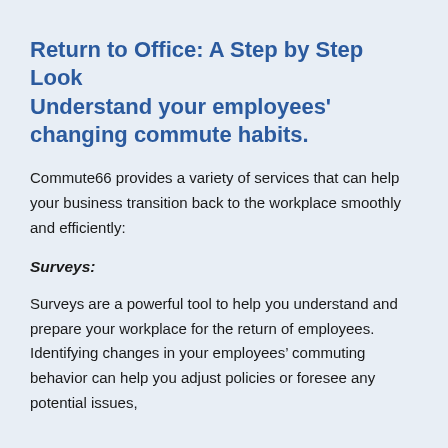Return to Office: A Step by Step Look
Understand your employees' changing commute habits.
Commute66 provides a variety of services that can help your business transition back to the workplace smoothly and efficiently:
Surveys:
Surveys are a powerful tool to help you understand and prepare your workplace for the return of employees. Identifying changes in your employees’ commuting behavior can help you adjust policies or foresee any potential issues,